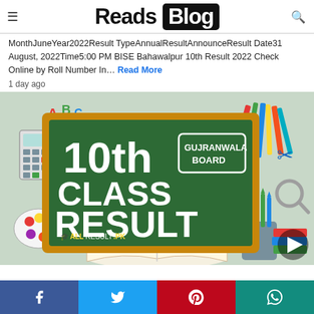Reads Blog
MonthJuneYear2022Result TypeAnnualResultAnnounceResult Date31 August, 2022Time5:00 PM BISE Bahawalpur 10th Result 2022 Check Online by Roll Number In… Read More
1 day ago
[Figure (illustration): Chalkboard image showing '10th CLASS RESULT' with 'GUJRANWALA BOARD' on green board with golden frame, surrounded by school supplies like pencils, scissors, books, calculator, paint palette. ALLRESULT.PK watermark on the board.]
Facebook | Twitter | Pinterest | WhatsApp social share buttons